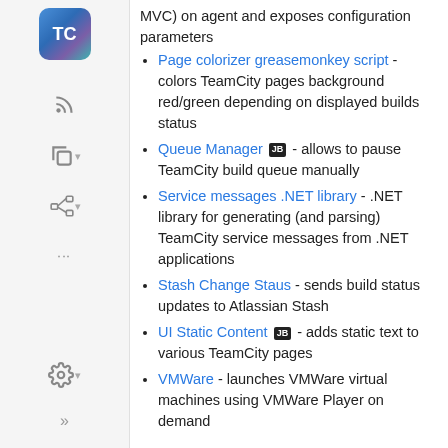[Figure (other): TeamCity sidebar navigation with logo, icons, and controls]
MVC) on agent and exposes configuration parameters
Page colorizer greasemonkey script - colors TeamCity pages background red/green depending on displayed builds status
Queue Manager [JB badge] - allows to pause TeamCity build queue manually
Service messages .NET library - .NET library for generating (and parsing) TeamCity service messages from .NET applications
Stash Change Staus - sends build status updates to Atlassian Stash
UI Static Content [JB badge] - adds static text to various TeamCity pages
VMWare - launches VMWare virtual machines using VMWare Player on demand
Support for TeamCity in Other Tools
Confluence Plugin - TeamCity Integration Plugin plugin for Atlassian Confluence by StiltSoft
github has a service hook to trigger a build in